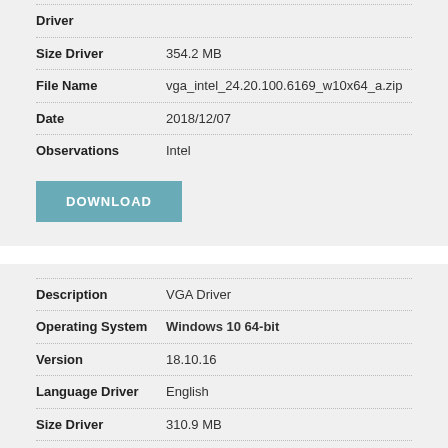| Field | Value |
| --- | --- |
| Driver |  |
| Size Driver | 354.2 MB |
| File Name | vga_intel_24.20.100.6169_w10x64_a.zip |
| Date | 2018/12/07 |
| Observations | Intel |
DOWNLOAD
| Field | Value |
| --- | --- |
| Description | VGA Driver |
| Operating System | Windows 10 64-bit |
| Version | 18.10.16 |
| Language Driver | English |
| Size Driver | 310.9 MB |
| File Name | vga_amd_18.10.16_w10x64_a.zip |